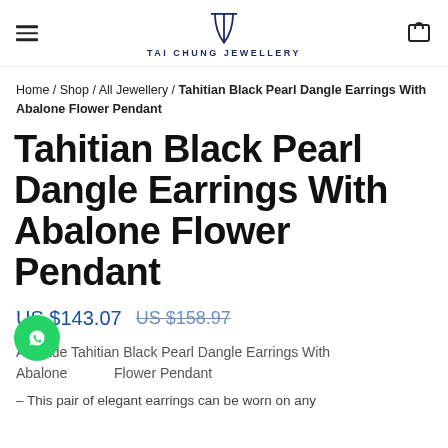TAI CHUNG JEWELLERY
Home / Shop / All Jewellery / Tahitian Black Pearl Dangle Earrings With Abalone Flower Pendant
Tahitian Black Pearl Dangle Earrings With Abalone Flower Pendant
US $143.07  US $158.97
A Grade Tahitian Black Pearl Dangle Earrings With Abalone Flower Pendant
– This pair of elegant earrings can be worn on any